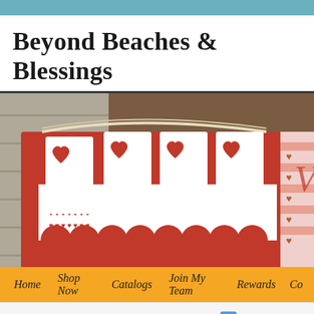Beyond Beaches & Blessings
[Figure (photo): Valentine's Day craft photo showing a red card/book with white heart-topped tags arranged in a row, with a heart-patterned white band, string/twine, and a second item with stripes and heart cutouts on brown background]
Home  Shop Now  Catalogs  Join My Team  Rewards  Co...
Follow ...